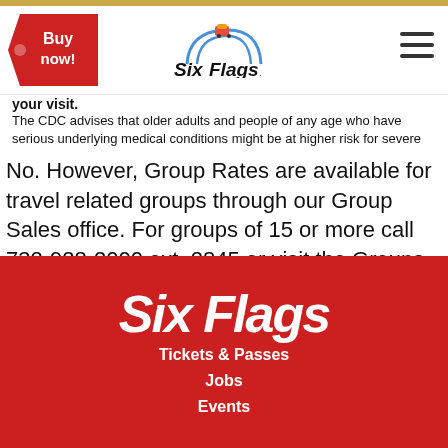[Figure (logo): Six Flags logo with roller coaster arc icon and 'Six Flags' text]
[Figure (illustration): Red ticket-shaped 'Buy now!' button in top left]
[Figure (illustration): Hamburger menu icon (three horizontal lines) in top right]
your visit.
The CDC advises that older adults and people of any age who have serious underlying medical conditions might be at higher risk for severe illness from
No. However, Group Rates are available for travel related groups through our Group Sales office. For groups of 15 or more call 732-928-2000 ext. 2845 or visit the Groups page on our website.
Learn More
[Figure (logo): Six Flags logo in white text on red background in footer]
Tickets & Passes
Jobs
Events